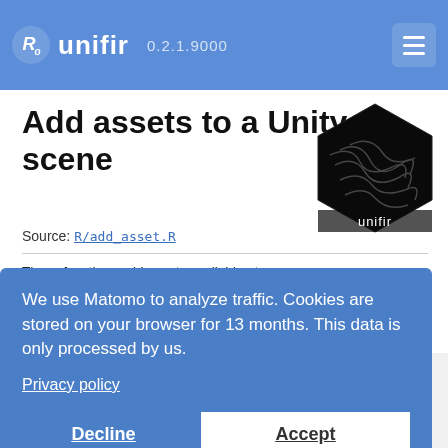unifir 0.2.1.9000
Add assets to a Unity scene
[Figure (logo): Hexagonal black logo with swirling smoke/liquid design and 'unifir' text label at bottom]
Source: R/add_asset.R
These functions add assets available at https://github.com/mikemahoney218/unity_assets/ to a Unity scene.
Usage
add_default_player(
  script_name,
  controller = c("PinkRoomController", "FPSController"),
  asset_directory = NULL,
  lazy = TRUE,
We use Matomo to analyze traffic. Cookies are stored on your browser for 13 months. This data is only processed by us.

Privacy policy

[Decline] [Accept]